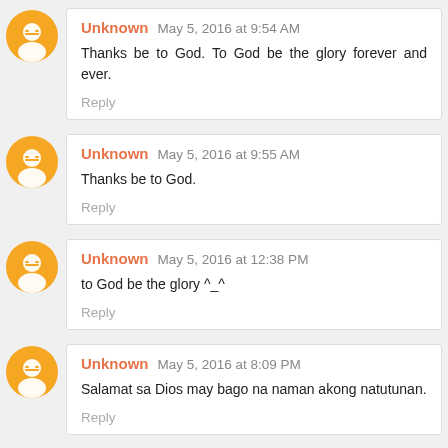Unknown May 5, 2016 at 9:54 AM
Thanks be to God. To God be the glory forever and ever.
Reply
Unknown May 5, 2016 at 9:55 AM
Thanks be to God.
Reply
Unknown May 5, 2016 at 12:38 PM
to God be the glory ^_^
Reply
Unknown May 5, 2016 at 8:09 PM
Salamat sa Dios may bago na naman akong natutunan.
Reply